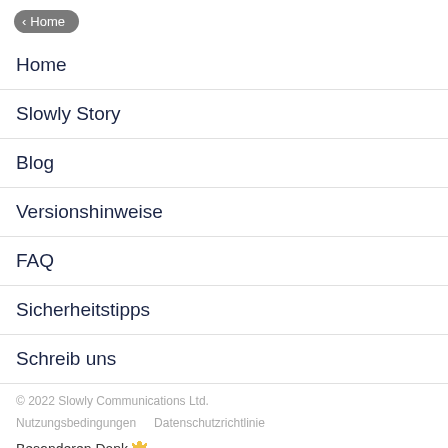< Home
Home
Slowly Story
Blog
Versionshinweise
FAQ
Sicherheitstipps
Schreib uns
© 2022 Slowly Communications Ltd.
Nutzungsbedingungen    Datenschutzrichtlinie
Besonderen Dank 🧡